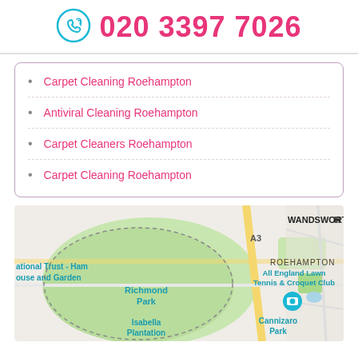020 3397 7026
Carpet Cleaning Roehampton
Antiviral Cleaning Roehampton
Carpet Cleaners Roehampton
Carpet Cleaning Roehampton
[Figure (map): Google Maps view of Roehampton area in London, showing Richmond Park, National Trust - Ham House and Garden, All England Lawn Tennis & Croquet Club, Isabella Plantation, Cannizaro Park, and WANDSWORTH label. Road A3 visible.]